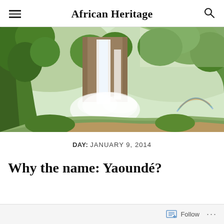African Heritage
[Figure (photo): A large waterfall cascading down a rocky cliff surrounded by lush green tropical vegetation. Mist rises from the base of the falls into a winding river below, with a faint rainbow visible on the right side.]
DAY: JANUARY 9, 2014
Why the name: Yaoundé?